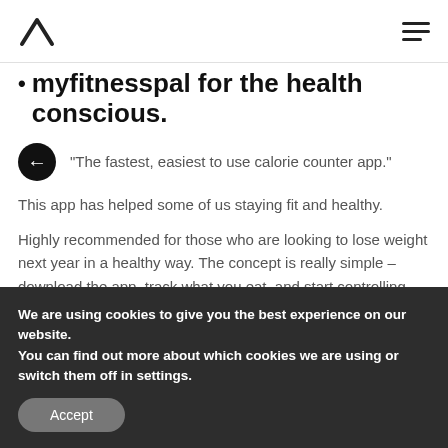myfitnesspal for the health conscious.
“The fastest, easiest to use calorie counter app.”
This app has helped some of us staying fit and healthy.
Highly recommended for those who are looking to lose weight next year in a healthy way. The concept is really simple – download the app, track what you eat, and start controlling how much calories you are taking every day.
We are using cookies to give you the best experience on our website.
You can find out more about which cookies we are using or switch them off in settings.